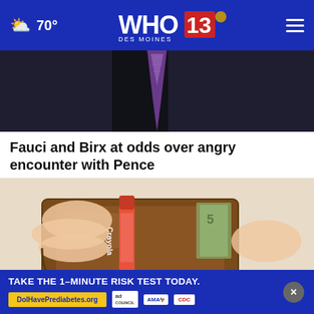70° WHO 13 DES MOINES
[Figure (photo): Dark background showing person in dark suit with purple tie visible at top]
Fauci and Birx at odds over angry encounter with Pence
[Figure (photo): Close-up of hands holding a brown leather wallet open with a Crayola crayon inside it]
[Figure (other): Advertisement banner: TAKE THE 1-MINUTE RISK TEST TODAY. DolHavePrediabetes.org with ad council, AMA, and CDC logos]